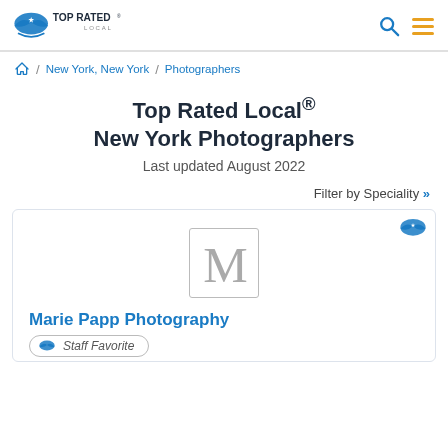Top Rated Local
New York, New York / Photographers
Top Rated Local® New York Photographers
Last updated August 2022
Filter by Speciality »
[Figure (logo): Letter M placeholder logo for Marie Papp Photography]
Marie Papp Photography
Staff Favorite